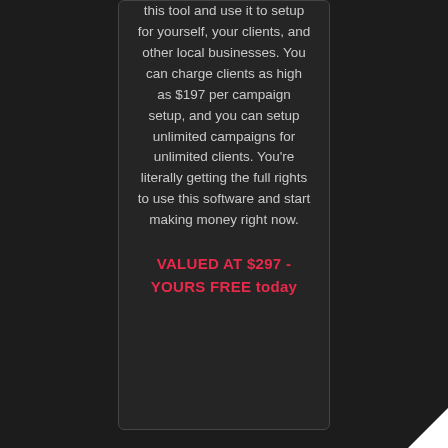this tool and use it to setup for yourself, your clients, and other local businesses. You can charge clients as high as $197 per campaign setup, and you can setup unlimited campaigns for unlimited clients. You're literally getting the full rights to use this software and start making money right now.
VALUED AT $297 - YOURS FREE today